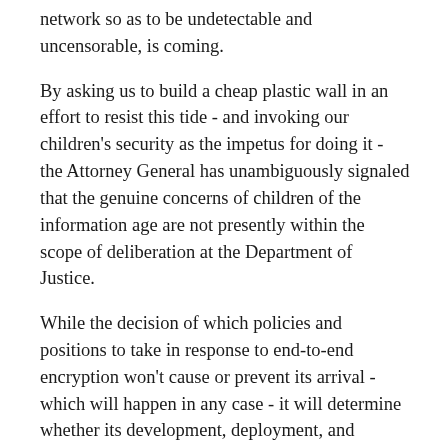network so as to be undetectable and uncensorable, is coming.
By asking us to build a cheap plastic wall in an effort to resist this tide - and invoking our children's security as the impetus for doing it - the Attorney General has unambiguously signaled that the genuine concerns of children of the information age are not presently within the scope of deliberation at the Department of Justice.
While the decision of which policies and positions to take in response to end-to-end encryption won't cause or prevent its arrival - which will happen in any case - it will determine whether its development, deployment, and delivery are conducted by people like us - patriots who hold our head high and readily appear in public to tout our discoveries and implementations - or be driven underground, engineered in